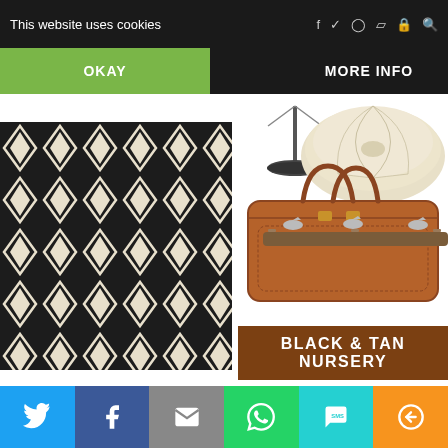This website uses cookies
OKAY
MORE INFO
[Figure (photo): Collage showing black and cream diamond-pattern rug, tan leather handbag, lamp stand, cream leather pouf ottoman, wall hooks, over a brown banner reading BLACK & TAN NURSERY]
If you are expecting and haven’t yet settled on a theme for your baby’s nursery, I invite you to consider emulating the look of Moore’s.
Share buttons: Twitter, Facebook, Email, WhatsApp, SMS, More